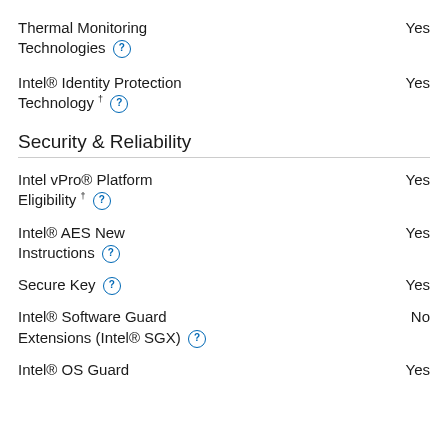Thermal Monitoring Technologies  Yes
Intel® Identity Protection Technology †  Yes
Security & Reliability
Intel vPro® Platform Eligibility †  Yes
Intel® AES New Instructions  Yes
Secure Key  Yes
Intel® Software Guard Extensions (Intel® SGX)  No
Intel® OS Guard  Yes